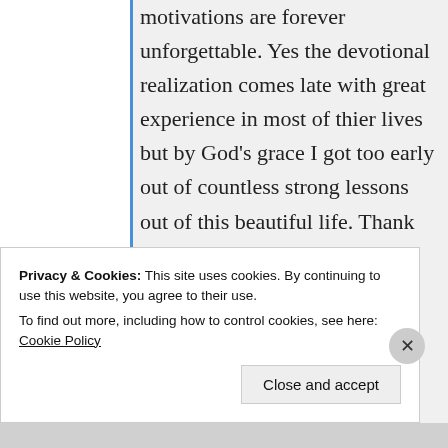motivations are forever unforgettable. Yes the devotional realization comes late with great experience in most of thier lives but by God's grace I got too early out of countless strong lessons out of this beautiful life. Thank you very much n kindly accept my Pranam ❤️🙏
★ Like
Log in to Reply
Privacy & Cookies: This site uses cookies. By continuing to use this website, you agree to their use. To find out more, including how to control cookies, see here: Cookie Policy
Close and accept